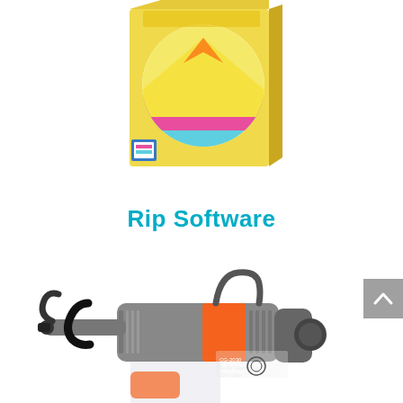[Figure (photo): Yellow software box with colorful CMYK wave/mountain graphic design on front — Rip Software product box]
Rip Software
[Figure (photo): Gray, orange and black Textile Cleaning Gun (CG-2030) with white bottle/reservoir and black trigger handle — cleaning equipment product photo]
[Figure (other): Gray scroll-up button with upward chevron arrow on the right side of page]